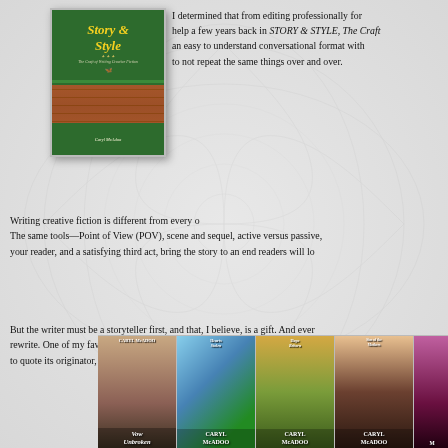[Figure (photo): Book cover for 'Story & Style, The Craft of Writing Creative Fiction' by Caryl McAdoo, green cover with brick background and gold butterfly]
I determined that from editing professionally for years, and then put that knowledge to help a few years back in STORY & STYLE, The Craft of Writing Creative Fiction, writing in an easy to understand conversational format with enough variety of examples and stories to not repeat the same things over and over.
Writing creative fiction is different from every other form of writing. The same tools—Point of View (POV), scene and sequel, active versus passive, your reader, and a satisfying third act, bring the story to an end readers will lo
But the writer must be a storyteller first, and that, I believe, is a gift. And ever rewrite. One of my favorite sayings is 'Only God writes in stone, the rest of us to quote its originator, and dear Google gave me the credit. I think it might actu
[Figure (photo): Row of book covers by Caryl McAdoo including Vow Unbroken, Hearts Stolen, Hope Reborn, Sins of the Mothers, and others]